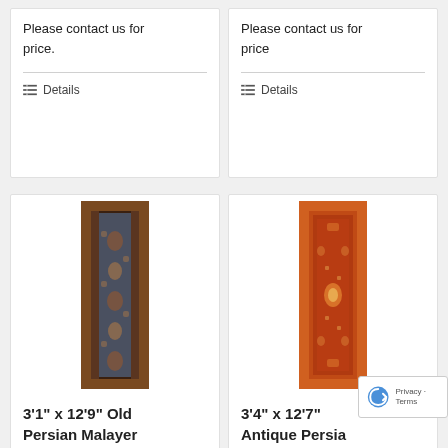Please contact us for price.
Please contact us for price
Details
Details
[Figure (photo): Tall narrow Persian Malayer Runner rug with dark background and floral pattern, item 110566]
[Figure (photo): Tall narrow Antique Persian Malayer Runner rug with reddish-orange background and geometric/medallion pattern]
3'1" x 12'9" Old Persian Malayer Runner – 110566
3'4" x 12'7" Antique Persian Malayer Runner –